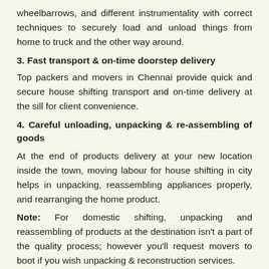wheelbarrows, and different instrumentality with correct techniques to securely load and unload things from home to truck and the other way around.
3. Fast transport & on-time doorstep delivery
Top packers and movers in Chennai provide quick and secure house shifting transport and on-time delivery at the sill for client convenience.
4. Careful unloading, unpacking & re-assembling of goods
At the end of products delivery at your new location inside the town, moving labour for house shifting in city helps in unpacking, reassembling appliances properly, and rearranging the home product.
Note: For domestic shifting, unpacking and reassembling of products at the destination isn't a part of the quality process; however you'll request movers to boot if you wish unpacking & reconstruction services.
When is the Right Time to Select...